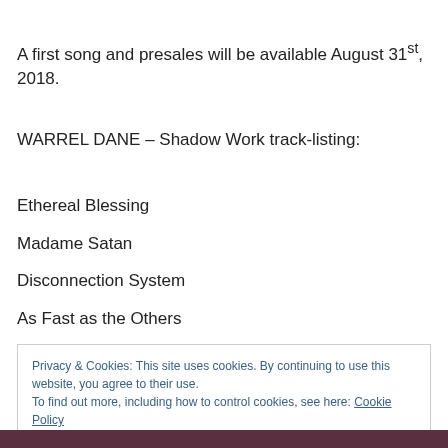A first song and presales will be available August 31st, 2018.
WARREL DANE – Shadow Work track-listing:
Ethereal Blessing
Madame Satan
Disconnection System
As Fast as the Others
Privacy & Cookies: This site uses cookies. By continuing to use this website, you agree to their use.
To find out more, including how to control cookies, see here: Cookie Policy
[Figure (photo): Partial dark photo strip at the bottom of the page]